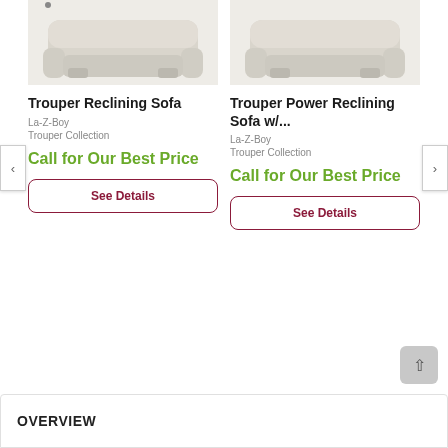[Figure (photo): Trouper Reclining Sofa product image - light beige/cream reclining sofa photographed from front angle, partially cropped at top]
[Figure (photo): Trouper Power Reclining Sofa product image - light beige/cream power reclining sofa photographed from front angle, partially cropped at top]
Trouper Reclining Sofa
Trouper Power Reclining Sofa w/...
La-Z-Boy
La-Z-Boy
Trouper Collection
Trouper Collection
Call for Our Best Price
Call for Our Best Price
See Details
See Details
OVERVIEW